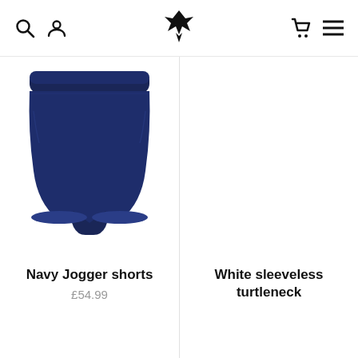Navigation header with search, account, logo (eagle icon), cart, and menu icons
[Figure (photo): Navy jogger shorts product photo on white background]
Navy Jogger shorts
£54.99
White sleeveless turtleneck